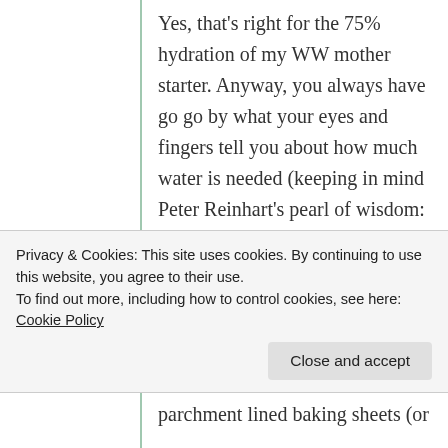Yes, that's right for the 75% hydration of my WW mother starter. Anyway, you always have go go by what your eyes and fingers tell you about how much water is needed (keeping in mind Peter Reinhart's pearl of wisdom: “Always err on the side of too wet than too dry”).
6 medium sized loaves was my
Privacy & Cookies: This site uses cookies. By continuing to use this website, you agree to their use.
To find out more, including how to control cookies, see here: Cookie Policy
Close and accept
parchment lined baking sheets (or